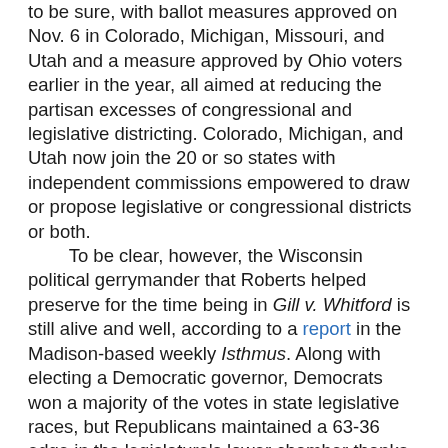to be sure, with ballot measures approved on Nov. 6 in Colorado, Michigan, Missouri, and Utah and a measure approved by Ohio voters earlier in the year, all aimed at reducing the partisan excesses of congressional and legislative districting. Colorado, Michigan, and Utah now join the 20 or so states with independent commissions empowered to draw or propose legislative or congressional districts or both.
	To be clear, however, the Wisconsin political gerrymander that Roberts helped preserve for the time being in Gill v. Whitford is still alive and well, according to a report in the Madison-based weekly Isthmus. Along with electing a Democratic governor, Democrats won a majority of the votes in state legislative races, but Republicans maintained a 63-36 edge in the legislature's lower chamber thanks to the politically skewed maps they drew nearly a decade ago. A three-judge federal court had ordered the maps redrawn, but Roberts concocted a technical legal issue in the Supreme Court proceedings to set aside the decision and leave the misdrawn districts in effect for one more election cycle.
	The ballot measure results show the political appeal of creating independent commissions to take redistricting away from state legislators. Colorado's attorney general...